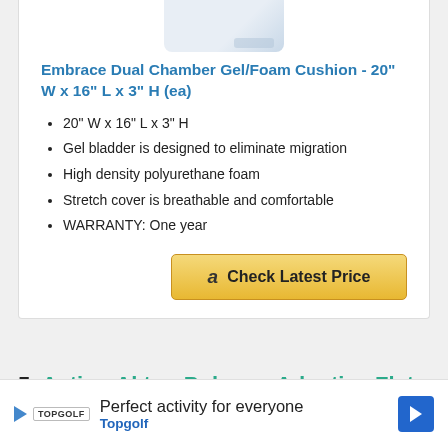[Figure (photo): Partial product image of Embrace Dual Chamber Gel/Foam Cushion shown at top of card]
Embrace Dual Chamber Gel/Foam Cushion - 20" W x 16" L x 3" H (ea)
20" W x 16" L x 3" H
Gel bladder is designed to eliminate migration
High density polyurethane foam
Stretch cover is breathable and comfortable
WARRANTY: One year
[Figure (other): Amazon Check Latest Price button (golden/yellow button with Amazon logo)]
5. Action Akton Polymer Adaptive Flat Pad
[Figure (other): Topgolf advertisement banner: Perfect activity for everyone - Topgolf]